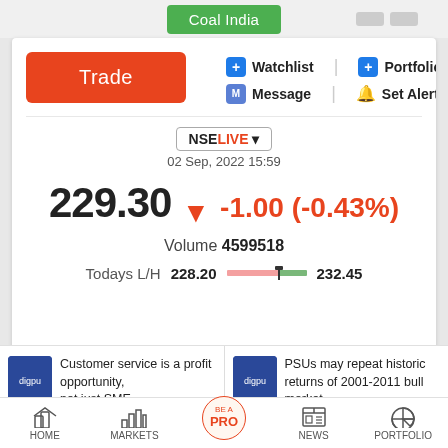Coal India
Trade
+ Watchlist | + Portfolio | M Message | Set Alert
NSELIVE
02 Sep, 2022 15:59
229.30 ▼ -1.00 (-0.43%)
Volume 4599518
Todays L/H 228.20   232.45
[Figure (line-chart): Mini intraday price chart for Coal India stock showing price movement, with a green dot marker near the start]
Customer service is a profit opportunity, not just SME
PSUs may repeat historic returns of 2001-2011 bull market
HOME | MARKETS | BE A PRO | NEWS | PORTFOLIO